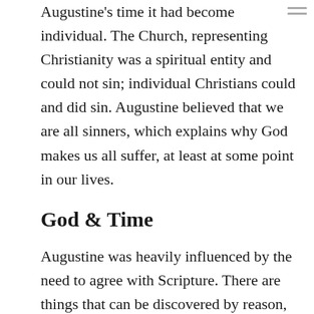Augustine's time it had become individual. The Church, representing Christianity was a spiritual entity and could not sin; individual Christians could and did sin. Augustine believed that we are all sinners, which explains why God makes us all suffer, at least at some point in our lives.
God & Time
Augustine was heavily influenced by the need to agree with Scripture. There are things that can be discovered by reason, but knowledge of God can only be found through Christ. The Scriptures are not to be questioned. This led to disagreements with the Greek philosophers, such as on the nature of God. Genesis says that God created the universe out of nothing, but the Greeks thought